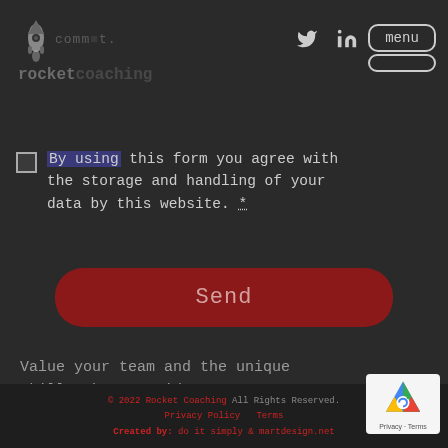commit. rocketcoaching [nav: twitter, linkedin, menu]
By using this form you agree with the storage and handling of your data by this website. *
[Figure (other): Red rounded Send button]
Value your team and the unique skills they provide →
© 2022 Rocket Coaching All Rights Reserved. Privacy Policy   Terms   Created by: do it simply & martdesign.net